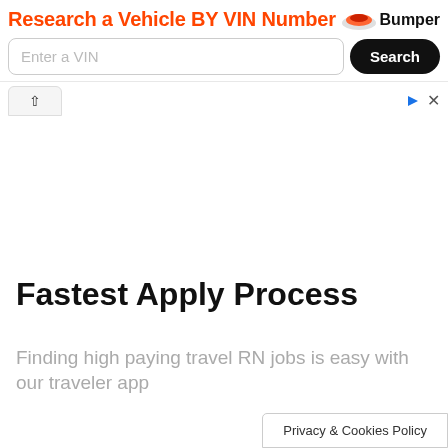[Figure (screenshot): Bumper VIN search advertisement banner with orange title 'Research a Vehicle BY VIN Number', Bumper logo, VIN input field, and Search button]
Fastest Apply Process
Finding high paying travel RN jobs is easy with our traveler app
Privacy & Cookies Policy